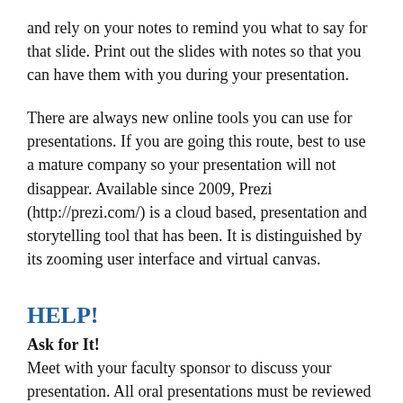and rely on your notes to remind you what to say for that slide. Print out the slides with notes so that you can have them with you during your presentation.
There are always new online tools you can use for presentations. If you are going this route, best to use a mature company so your presentation will not disappear. Available since 2009, Prezi (http://prezi.com/) is a cloud based, presentation and storytelling tool that has been. It is distinguished by its zooming user interface and virtual canvas.
HELP!
Ask for It!
Meet with your faculty sponsor to discuss your presentation. All oral presentations must be reviewed by a faculty sponsor prior to the day of the Exposition. Do not